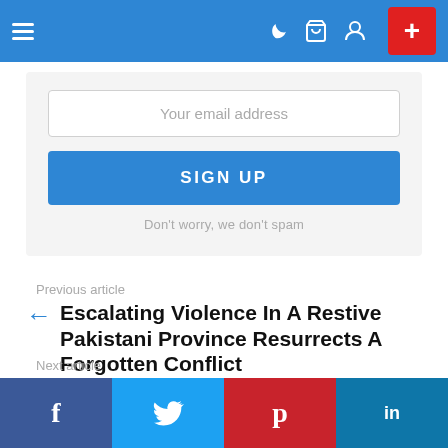Navigation bar with menu, icons, and sign-up button
[Figure (screenshot): Email sign-up form with input field, SIGN UP button, and 'Don't worry, we don't spam' text]
Previous article
Escalating Violence In A Restive Pakistani Province Resurrects A Forgotten Conflict
Next article
Exiled king asks UN to hold referendum on freedom of Balochistan from Pakistan rule
Social share bar: Facebook, Twitter, Pinterest, LinkedIn